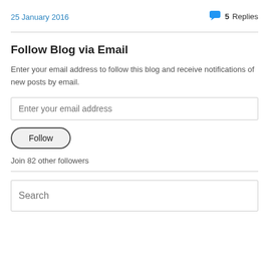25 January 2016
5 Replies
Follow Blog via Email
Enter your email address to follow this blog and receive notifications of new posts by email.
Enter your email address
Follow
Join 82 other followers
Search